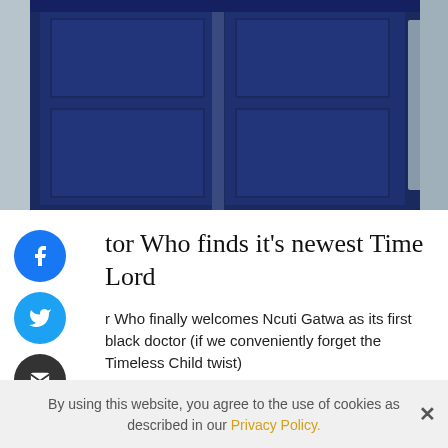[Figure (photo): Close-up photo of a dark navy blue TARDIS police box door against a grey sky]
Doctor Who finds it's newest Time Lord
Doctor Who finally welcomes Ncuti Gatwa as its first black doctor (if we conveniently forget the Timeless Child twist)
[Figure (photo): Blue sky with clouds, partial image strip]
By using this website, you agree to the use of cookies as described in our Privacy Policy.